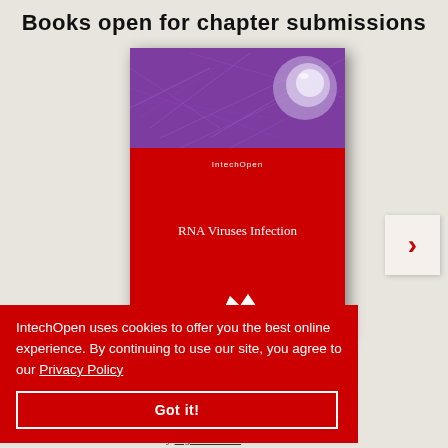Books open for chapter submissions
[Figure (illustration): Book cover for 'RNA Viruses Infection' published by IntechOpen. The cover has a purple top section with microscopic imagery and a red bottom section displaying the book title and InTechOpen logo.]
IntechOpen uses cookies to offer you the best online experience. By continuing to use our site, you agree to our Privacy Policy
Got it!
Edited by Yogendra Shah